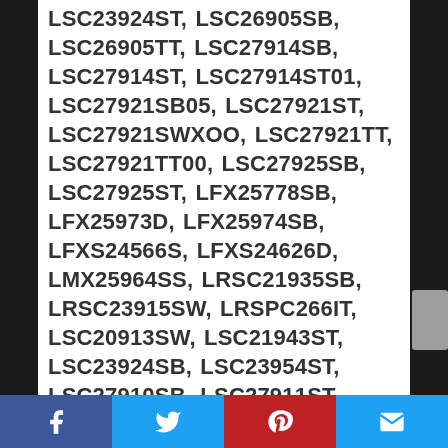LSC23924ST, LSC26905SB, LSC26905TT, LSC27914SB, LSC27914ST, LSC27914ST01, LSC27921SB05, LSC27921ST, LSC27921SWXOO, LSC27921TT, LSC27921TT00, LSC27925SB, LSC27925ST, LFX25778SB, LFX25973D, LFX25974SB, LFXS24566S, LFXS24626D, LMX25964SS, LRSC21935SB, LRSC23915SW, LRSPC266IT, LSC20913SW, LSC21943ST, LSC23924SB, LSC23954ST, LSC27910SB, LSC27911ST, LSC27921SB, LFX25778ST, LFX25778SW, LFX25973SW, LFXS24626S, LRSC21934SW, LRSC21934TT, LRSC21935SW, LRSC21935TT, LSC20913TT, LSC23924SW, LSC23954SW, LSC26905ST, LSC26905SW,